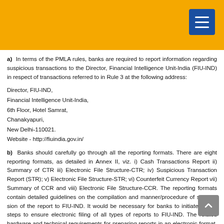a) In terms of the PMLA rules, banks are required to report information regarding suspicious transactions to the Director, Financial Intelligence Unit-India (FIU-IND) in respect of transactions referred to in Rule 3 at the following address:
Director, FIU-IND,
Financial Intelligence Unit-India,
6th Floor, Hotel Samrat,
Chanakyapuri,
New Delhi-110021.
Website - http://fiuindia.gov.in/
b) Banks should carefully go through all the reporting formats. There are eight reporting formats, as detailed in Annex II, viz. i) Cash Transactions Report ii) Summary of CTR iii) Electronic File Structure-CTR; iv) Suspicious Transactions Report (STR); v) Electronic File Structure-STR; vi) Counterfeit Currency Report (CCR) vii) Summary of CCR and viii) Electronic File Structure-CCR. The reporting formats contain detailed guidelines on the compilation and manner/procedure of submission of the report to FIU-IND. It would be necessary for banks to initiate urgent steps to ensure electronic filing of all types of reports to FIU-IND. The related hardware and technical requirements for preparing reports in an electronic format, the related data files and data structures etc. are furnished in the instructions part of the concerned formats.
c) FIU-IND have placed on their website editable electronic utilities to e-